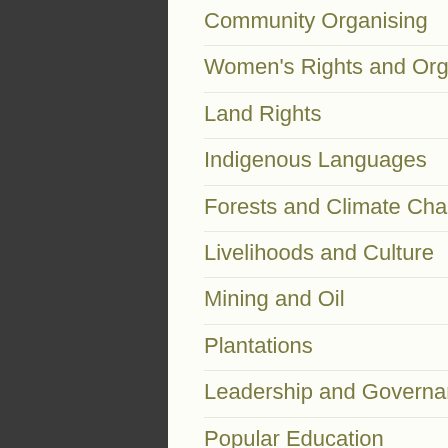Community Organising
Women's Rights and Organising
Land Rights
Indigenous Languages
Forests and Climate Change
Livelihoods and Culture
Mining and Oil
Plantations
Leadership and Governance
Popular Education
Resources
Video / Audio
Documents
Links